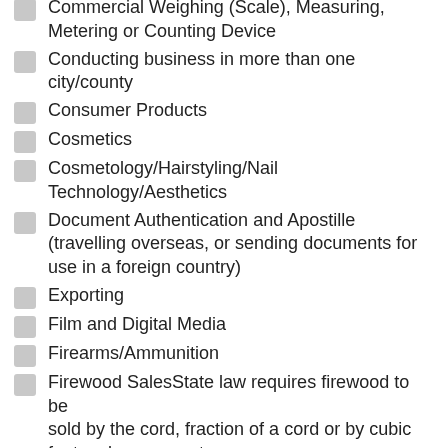Commercial Weighing (Scale), Measuring, Metering or Counting Device
Conducting business in more than one city/county
Consumer Products
Cosmetics
Cosmetology/Hairstyling/Nail Technology/Aesthetics
Document Authentication and Apostille (travelling overseas, or sending documents for use in a foreign country)
Exporting
Film and Digital Media
Firearms/Ammunition
Firewood SalesState law requires firewood to be sold by the cord, fraction of a cord or by cubic feet, unless exempt